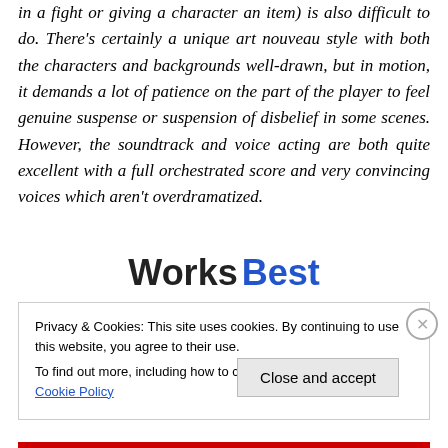in a fight or giving a character an item) is also difficult to do. There's certainly a unique art nouveau style with both the characters and backgrounds well-drawn, but in motion, it demands a lot of patience on the part of the player to feel genuine suspense or suspension of disbelief in some scenes. However, the soundtrack and voice acting are both quite excellent with a full orchestrated score and very convincing voices which aren't overdramatized.
Works Best
Privacy & Cookies: This site uses cookies. By continuing to use this website, you agree to their use. To find out more, including how to control cookies, see here: Cookie Policy